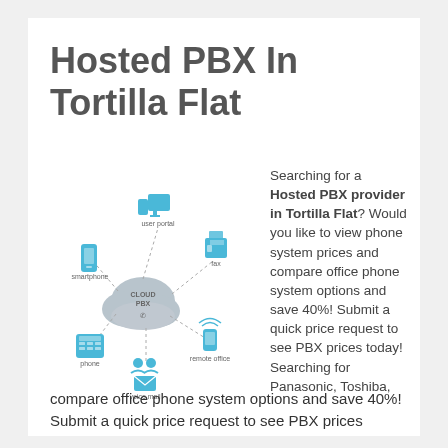Hosted PBX In Tortilla Flat
[Figure (infographic): Cloud PBX diagram showing a central cloud labeled CLOUD PBX connected by dashed lines to six icons: user portal (computer/monitor), smartphone, fax, remote office (mobile phone with signal), voice mail (envelope with people), and phone (desk phone).]
Searching for a Hosted PBX provider in Tortilla Flat? Would you like to view phone system prices and compare office phone system options and save 40%! Submit a quick price request to see PBX prices today! Searching for Panasonic, Toshiba,